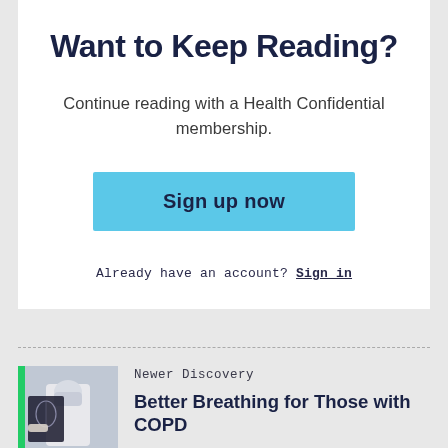Want to Keep Reading?
Continue reading with a Health Confidential membership.
Sign up now
Already have an account? Sign in
Newer Discovery
Better Breathing for Those with COPD
[Figure (photo): A medical professional in a mask holding an X-ray image of a chest/lungs]